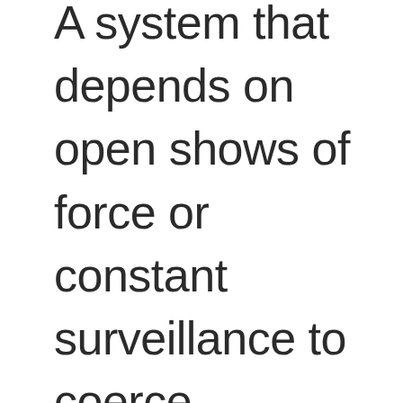A system that depends on open shows of force or constant surveillance to coerce obedience from a population that